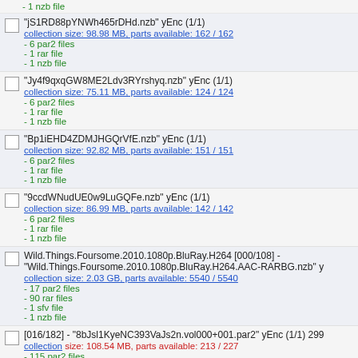- 1 nzb file
"jS1RD88pYNWh465rDHd.nzb" yEnc (1/1)
collection size: 98.98 MB, parts available: 162 / 162
- 6 par2 files
- 1 rar file
- 1 nzb file
"Jy4f9qxqGW8ME2Ldv3RYrshyq.nzb" yEnc (1/1)
collection size: 75.11 MB, parts available: 124 / 124
- 6 par2 files
- 1 rar file
- 1 nzb file
"Bp1iEHD4ZDMJHGQrVfE.nzb" yEnc (1/1)
collection size: 92.82 MB, parts available: 151 / 151
- 6 par2 files
- 1 rar file
- 1 nzb file
"9ccdWNudUE0w9LuGQFe.nzb" yEnc (1/1)
collection size: 86.99 MB, parts available: 142 / 142
- 6 par2 files
- 1 rar file
- 1 nzb file
Wild.Things.Foursome.2010.1080p.BluRay.H264 [000/108] - "Wild.Things.Foursome.2010.1080p.BluRay.H264.AAC-RARBG.nzb" y
collection size: 2.03 GB, parts available: 5540 / 5540
- 17 par2 files
- 90 rar files
- 1 sfv file
- 1 nzb file
[016/182] - "8bJsl1KyeNC393VaJs2n.vol000+001.par2" yEnc (1/1) 299
collection size: 108.54 MB, parts available: 213 / 227
- 115 par2 files
[054/240] - "WmalLwEFA2iljxSHzNuo.par2" yEnc (1/1) 83376
collection size: 1.24 GB, parts available: 1890 / 1952